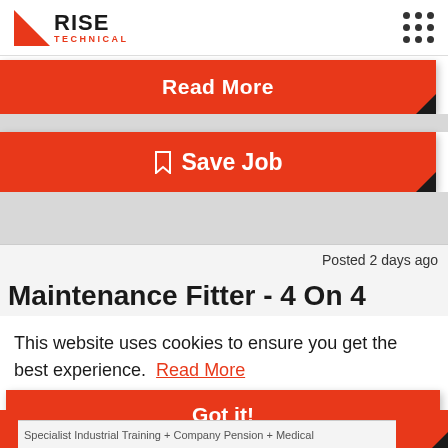Rise Technical
Read More
Save Job
Posted 2 days ago
Maintenance Fitter - 4 On 4
This website uses cookies to ensure you get the best experience. Read More
Got it!
Specialist Industrial Training + Company Pension + Medical